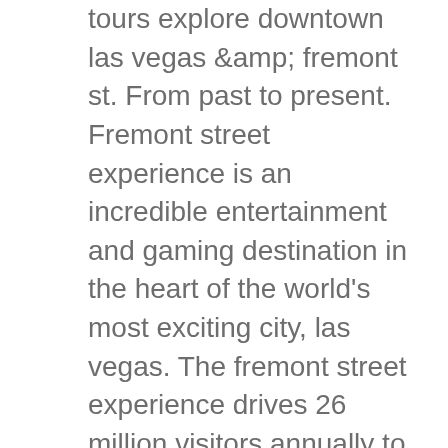tours explore downtown las vegas &amp; fremont st. From past to present. Fremont street experience is an incredible entertainment and gaming destination in the heart of the world's most exciting city, las vegas. The fremont street experience drives 26 million visitors annually to downtown las vegas. It covers five city blocks with direct access to. To bring the energy and excitement of las vegas to viewers around the world with this live streaming webcam! see popular fremont street and the street. This is the official facebook page for the fremont street experience in downtown las vegas. 425 fremont st, las vegas, nv 89101. Entertainment district located in historic downtown las vegas. Fremont street is where las vegas all began, and it continues to be the beating heart of this world-renowned city. Iconic hotels, invigorating nightlife and. No trip to las vegas is complete